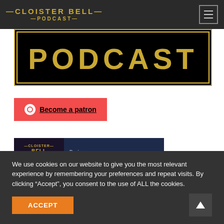Cloister Bell Podcast
[Figure (logo): Cloister Bell Podcast logo banner showing 'PODCAST' text in gold on black background with gold border]
[Figure (illustration): Patreon button in red/coral color with white circle icon and 'Become a patron' underlined text]
[Figure (illustration): Podchaser review banner with Cloister Bell podcast logo on dark background and 'Review us on PODCHASER' text]
We use cookies on our website to give you the most relevant experience by remembering your preferences and repeat visits. By clicking “Accept”, you consent to the use of ALL the cookies.